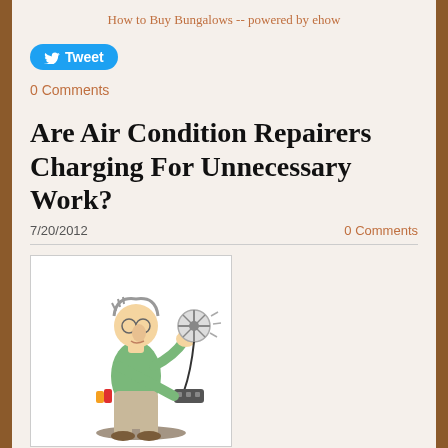How to Buy Bungalows -- powered by ehow
[Figure (other): Twitter Tweet button (blue rounded rectangle with bird icon)]
0 Comments
Are Air Condition Repairers Charging For Unnecessary Work?
7/20/2012
0 Comments
[Figure (illustration): Cartoon illustration of a man holding a small electric fan plugged into a power strip, with colorful items hanging from his belt]